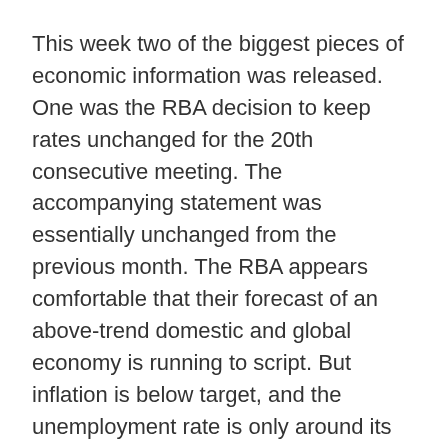This week two of the biggest pieces of economic information was released. One was the RBA decision to keep rates unchanged for the 20th consecutive meeting. The accompanying statement was essentially unchanged from the previous month. The RBA appears comfortable that their forecast of an above-trend domestic and global economy is running to script. But inflation is below target, and the unemployment rate is only around its decade-average. The RBA expects further economic improvement. But that improvement is expected to be only gradual.
The Q1 GDP numbers give the RBA no reason to change their mind. Indeed, if anything they might have to revise up their view on how well the economy is doing. According to the Government statisticians, the economy grew by 1.0% in the March quarter and increased by around 3% over the past year. Exports are doing well, non-